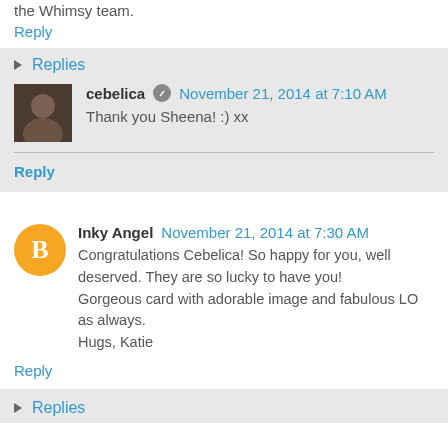the Whimsy team.
Reply
Replies
cebelica   November 21, 2014 at 7:10 AM
Thank you Sheena! :) xx
Reply
Inky Angel   November 21, 2014 at 7:30 AM
Congratulations Cebelica! So happy for you, well deserved. They are so lucky to have you!
Gorgeous card with adorable image and fabulous LO as always.
Hugs, Katie
Reply
Replies